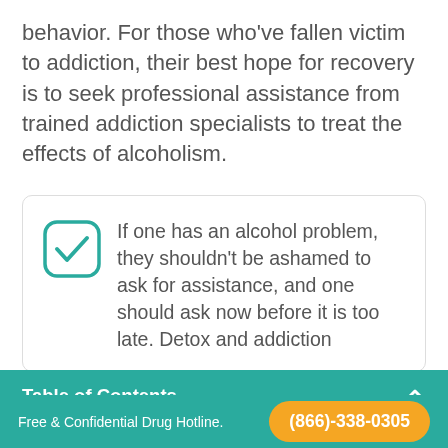behavior. For those who've fallen victim to addiction, their best hope for recovery is to seek professional assistance from trained addiction specialists to treat the effects of alcoholism.
If one has an alcohol problem, they shouldn't be ashamed to ask for assistance, and one should ask now before it is too late. Detox and addiction
Table of Contents
Free & Confidential Drug Hotline. (866)-338-0305